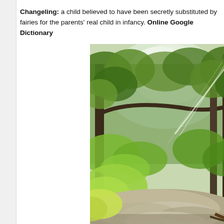Changeling: a child believed to have been secretly substituted by fairies for the parents' real child in infancy. Online Google Dictionary
[Figure (photo): A forest scene with tall trees, lush green and yellow-green foliage, sunlight rays filtering through the canopy, and a rocky stream or dry creek bed in the foreground.]